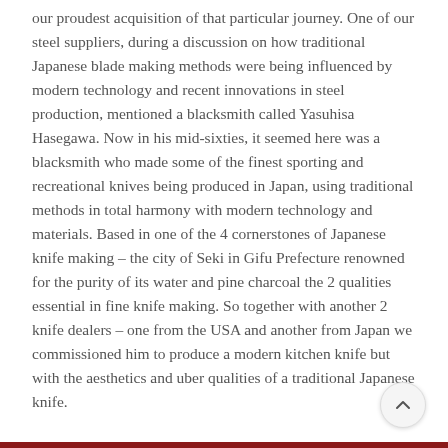our proudest acquisition of that particular journey. One of our steel suppliers, during a discussion on how traditional Japanese blade making methods were being influenced by modern technology and recent innovations in steel production, mentioned a blacksmith called Yasuhisa Hasegawa. Now in his mid-sixties, it seemed here was a blacksmith who made some of the finest sporting and recreational knives being produced in Japan, using traditional methods in total harmony with modern technology and materials. Based in one of the 4 cornerstones of Japanese knife making – the city of Seki in Gifu Prefecture renowned for the purity of its water and pine charcoal the 2 qualities essential in fine knife making. So together with another 2 knife dealers – one from the USA and another from Japan we commissioned him to produce a modern kitchen knife but with the aesthetics and uber qualities of a traditional Japanese knife.